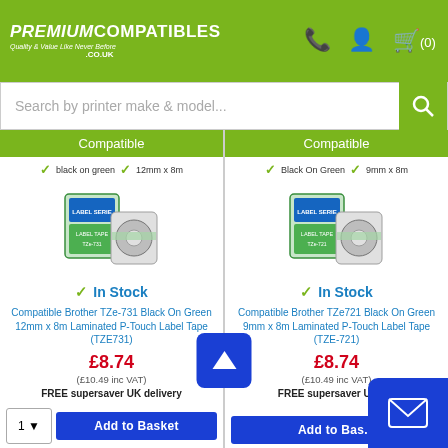[Figure (logo): Premium Compatibles logo with tagline 'Quality & Value Like Never Before' on green background]
Search by printer make & model...
Compatible
black on green  12mm x 8m
[Figure (photo): Compatible Brother TZe-731 label tape product image]
In Stock
Compatible Brother TZe-731 Black On Green 12mm x 8m Laminated P-Touch Label Tape (TZE731)
£8.74
(£10.49 inc VAT)
FREE supersaver UK delivery
Compatible
Black On Green  9mm x 8m
[Figure (photo): Compatible Brother TZe721 label tape product image]
In Stock
Compatible Brother TZe721 Black On Green 9mm x 8m Laminated P-Touch Label Tape (TZE-721)
£8.74
(£10.49 inc VAT)
FREE supersaver UK delivery